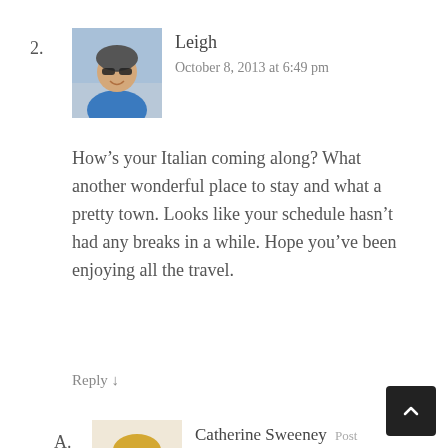2.
[Figure (photo): Profile photo of Leigh — person wearing sunglasses outdoors, blue top]
Leigh
October 8, 2013 at 6:49 pm
How’s your Italian coming along? What another wonderful place to stay and what a pretty town. Looks like your schedule hasn’t had any breaks in a while. Hope you’ve been enjoying all the travel.
Reply ↓
A.
[Figure (photo): Profile photo of Catherine Sweeney — woman with blonde hair, smiling]
Catherine Sweeney  Post
October 10, 2013 at 8:59 am
Grazie! 🙂 About my Italian — not much improved from my June visit,